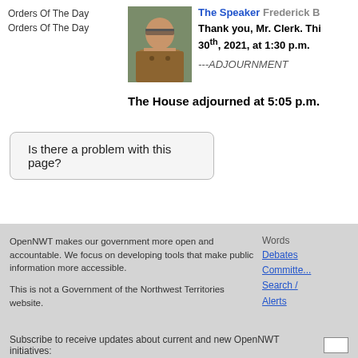Orders Of The Day
Orders Of The Day
The Speaker Frederick B
Thank you, Mr. Clerk. Thi... 30th, 2021, at 1:30 p.m.
---ADJOURNMENT
The House adjourned at 5:05 p.m.
Is there a problem with this page?
OpenNWT makes our government more open and accountable. We focus on developing tools that make public information more accessible.

This is not a Government of the Northwest Territories website.
Words
Debates
Committe...
Search /
Alerts
Subscribe to receive updates about current and new OpenNWT initiatives: